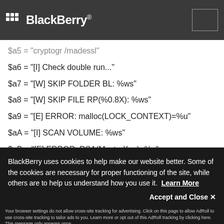BlackBerry
$a6 = "[I] Check double run..."
$a7 = "[W] SKIP FOLDER BL: %ws"
$a8 = "[W] SKIP FILE RP(%0.8X): %ws"
$a9 = "[E] ERROR: malloc(LOCK_CONTEXT)=%u"
$aA = "[I] SCAN VOLUME: %ws"
$aB = "[E] ERROR: RSA(MasterKey)=%u"
$aC = "locker.check.dbl_run" wide
BlackBerry uses cookies to help make our website better. Some of the cookies are necessary for proper functioning of the site, while others are to help us understand how you use it. Learn More
Accept and Close ✕
Your browser settings do not allow cross-site tracking for advertising. Click on this page to allow AdRoll to use cross-site tracking to tailor ads to you. Learn more or opt out of this AdRoll tracking by clicking here. This message only appears once.